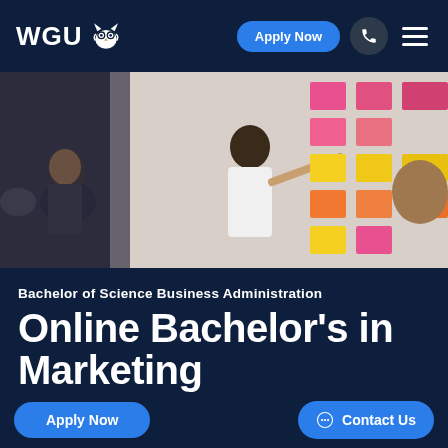WGU — Apply Now [navigation bar with phone and menu icons]
[Figure (photo): Group of people in an office/classroom setting; a woman in a white top points at a whiteboard covered with colorful sticky notes (pink, yellow, orange) while colleagues look on.]
Bachelor of Science Business Administration
Online Bachelor's in Marketing
Apply Now   Contact Us